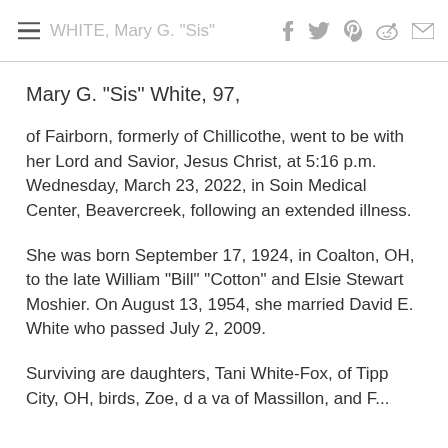WHITE, Mary G. "Sis"
Mary G. "Sis" White, 97,
of Fairborn, formerly of Chillicothe, went to be with her Lord and Savior, Jesus Christ, at 5:16 p.m. Wednesday, March 23, 2022, in Soin Medical Center, Beavercreek, following an extended illness.
She was born September 17, 1924, in Coalton, OH, to the late William "Bill" "Cotton" and Elsie Stewart Moshier. On August 13, 1954, she married David E. White who passed July 2, 2009.
Surviving are daughters, Tani White-Fox, of Tipp City, OH, birds, Zoe, d a va of Massillon, and F...